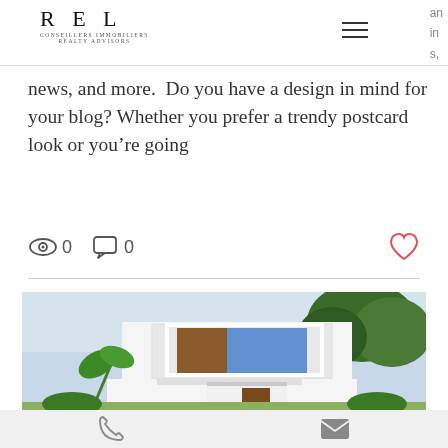[Figure (logo): REL Conseillers Immobiliers Realty Advisors logo with hamburger menu icon]
news, and more.  Do you have a design in mind for your blog? Whether you prefer a trendy postcard look or you’re going
[Figure (infographic): View count icon showing 0 views, comment icon showing 0 comments, and a heart/like icon]
[Figure (photo): Modern white two-story house with large blue-tinted glass window, surrounded by trees and tropical plants]